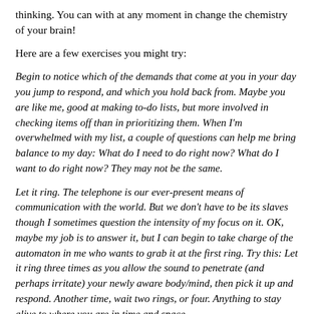thinking. You can with at any moment in change the chemistry of your brain!
Here are a few exercises you might try:
Begin to notice which of the demands that come at you in your day you jump to respond, and which you hold back from. Maybe you are like me, good at making to-do lists, but more involved in checking items off than in prioritizing them. When I'm overwhelmed with my list, a couple of questions can help me bring balance to my day: What do I need to do right now? What do I want to do right now? They may not be the same.
Let it ring. The telephone is our ever-present means of communication with the world. But we don't have to be its slaves though I sometimes question the intensity of my focus on it. OK, maybe my job is to answer it, but I can begin to take charge of the automaton in me who wants to grab it at the first ring. Try this: Let it ring three times as you allow the sound to penetrate (and perhaps irritate) your newly aware body/mind, then pick it up and respond. Another time, wait two rings, or four. Anything to stay alive to where you are in time and space.
One way of refreshing your outlook is to take a different route. Whether walking to the subway, driving to the office or taking time for a brisk walk, go a different way, forge a new path. Why does it